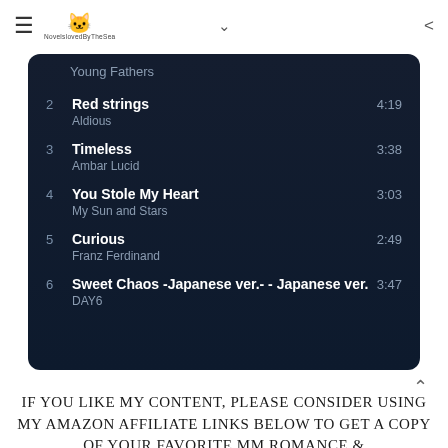≡ [cat logo] NovelslovedByTheSea ∨ <
Young Fathers
2  Red strings  4:19
Aldious
3  Timeless  3:38
Ambar Lucid
4  You Stole My Heart  3:03
My Sun and Stars
5  Curious  2:49
Franz Ferdinand
6  Sweet Chaos -Japanese ver.- - Japanese ver.  3:47
DAY6
IF YOU LIKE MY CONTENT, PLEASE CONSIDER USING MY AMAZON AFFILIATE LINKS BELOW TO GET A COPY OF YOUR FAVORITE MM ROMANCE &